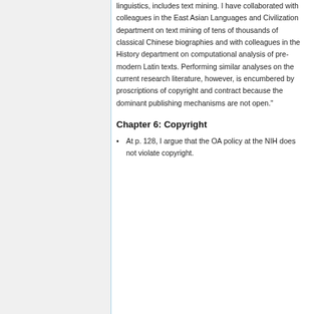linguistics, includes text mining. I have collaborated with colleagues in the East Asian Languages and Civilization department on text mining of tens of thousands of classical Chinese biographies and with colleagues in the History department on computational analysis of pre-modern Latin texts. Performing similar analyses on the current research literature, however, is encumbered by proscriptions of copyright and contract because the dominant publishing mechanisms are not open."
Chapter 6: Copyright
At p. 128, I argue that the OA policy at the NIH does not violate copyright.